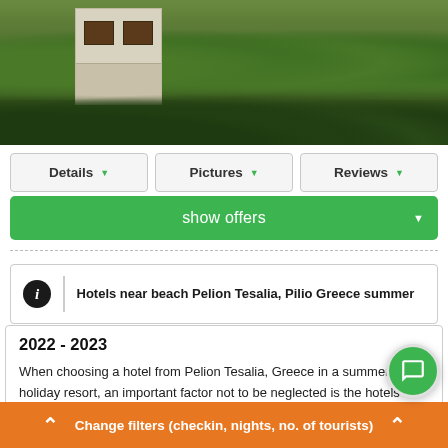[Figure (photo): Aerial or elevated outdoor photo showing a white building/hotel partially surrounded by dense green trees and forested hills]
Details
Pictures
Reviews
show offers
Hotels near beach Pelion Tesalia, Pilio Greece summer
2022 - 2023
When choosing a hotel from Pelion Tesalia, Greece in a summer holiday resort, an important factor not to be neglected is the hotels proximity to the beach. If the hotel in Pelion Tesalia, Greece is located in the very center of interest of the resort, near the
Change filters (checkin, nights, no. of tourists)